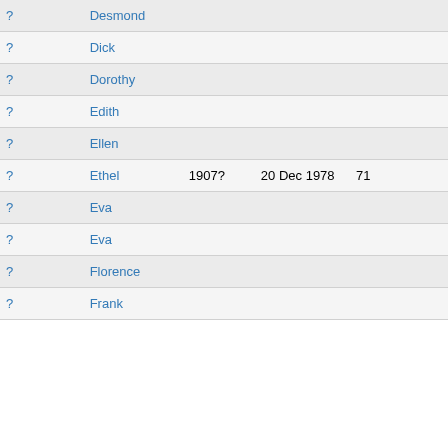| Surname | Given | Birth | Death | Age |  |
| --- | --- | --- | --- | --- | --- |
| ? | Desmond |  |  |  |  |
| ? | Dick |  |  |  |  |
| ? | Dorothy |  |  |  |  |
| ? | Edith |  |  |  |  |
| ? | Ellen |  |  |  |  |
| ? | Ethel | 1907? | 20 Dec 1978 | 71 |  |
| ? | Eva |  |  |  |  |
| ? | Eva |  |  |  |  |
| ? | Florence |  |  |  |  |
| ? | Frank |  |  |  |  |